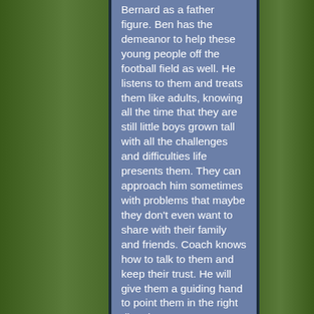Bernard as a father figure. Ben has the demeanor to help these young people off the football field as well. He listens to them and treats them like adults, knowing all the time that they are still little boys grown tall with all the challenges and difficulties life presents them. They can approach him sometimes with problems that maybe they don't even want to share with their family and friends. Coach knows how to talk to them and keep their trust. He will give them a guiding hand to point them in the right direction.

If you have any questions about who Coach Ben Bernard is and what he provides in athletic expertise, you personally call me on my cell phone. You will never be sorry that you met him or invested in his program. Coach Bernard is as genuine a person